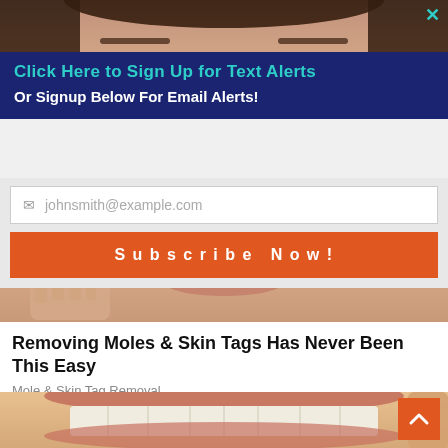[Figure (photo): Close-up of woman's face from above, dark hair visible, skin tone background]
×
Click Here to Sign Up for Text Alerts
Or Signup Below For Email Alerts!
[Figure (screenshot): Email signup form with input field showing placeholder johnsmith@example.com and orange Subscribe Now! button]
[Figure (photo): Lower portion of woman's face and hand, skin tone]
Removing Moles & Skin Tags Has Never Been This Easy
Mole & Skin Tag Removal
[Figure (photo): Close-up of human teeth and mouth, open smile showing white teeth]
^